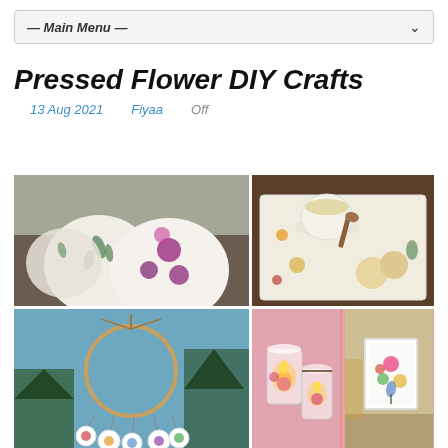— Main Menu —
Pressed Flower DIY Crafts
13 Aug 2021   Fiyaa   Off
[Figure (photo): Collage of pressed flower DIY craft ideas: decorated pots, a serving tray with pressed flowers and cookies, a hanging wind chime mobile, candle jars with flowers, and a framed pressed flower artwork.]